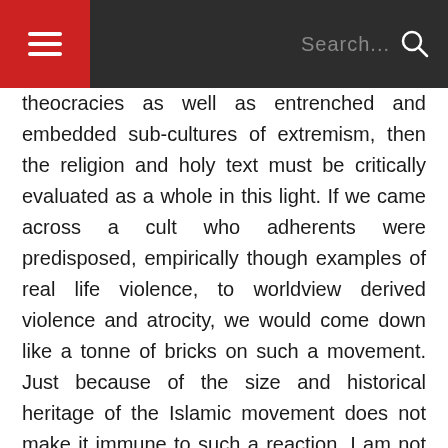≡  Search...  🔍
theocracies as well as entrenched and embedded sub-cultures of extremism, then the religion and holy text must be critically evaluated as a whole in this light. If we came across a cult who adherents were predisposed, empirically though examples of real life violence, to worldview derived violence and atrocity, we would come down like a tonne of bricks on such a movement. Just because of the size and historical heritage of the Islamic movement does not make it immune to such a reaction. I am not rationally bigoted toward each and every Muslim whom I might meet. However, I am rightfully dubious, wary, of such a movement. Just as I would have been very cautious in declaring my atheism to an Inquisition period